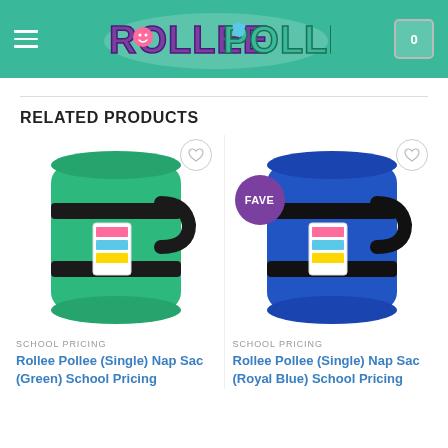Rollee Pollee
RELATED PRODUCTS
[Figure (photo): Rolled-up fleece blanket (green) with black strap and handle, shown as Rollee Pollee Nap Sac product photo]
SCHOOL PRICING
Rollee Pollee (Single) Nap Sac (Green) School Pricing
[Figure (photo): Rolled-up fleece blanket (royal blue) with black strap and handle, shown as Rollee Pollee Nap Sac product photo, with FAVE badge]
SCHOOL PRICING
Rollee Pollee (Single) Nap Sac (Royal Blue) School Pricing